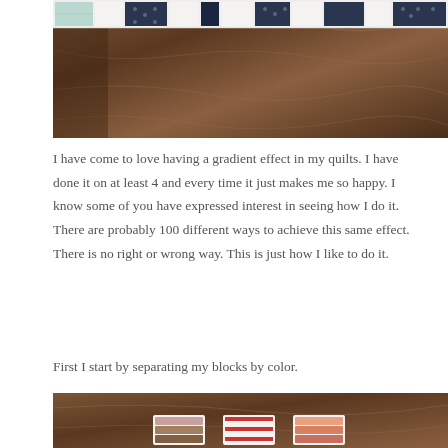[Figure (photo): Top portion of a quilt with fabric strips arranged horizontally showing various patterns including polka dots, stripes, and floral prints in navy, coral, and mint colors, laid on a dark walnut wood surface.]
I have come to love having a gradient effect in my quilts. I have done it on at least 4 and every time it just makes me so happy. I know some of you have expressed interest in seeing how I do it. There are probably 100 different ways to achieve this same effect. There is no right or wrong way. This is just how I like to do it.
First I start by separating my blocks by color.
[Figure (photo): Three stacks of folded quilt blocks sorted by color grouped on a dark wood surface — left group has dark floral prints, middle group has red and white striped fabric, right group has coral/peach prints.]